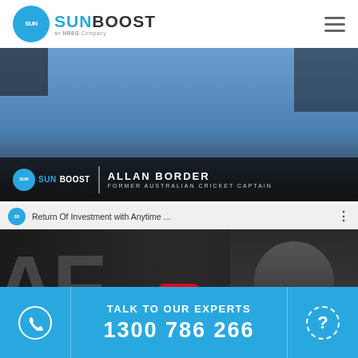[Figure (logo): SunBoost logo - circular blue icon with SUN text and BOOST text, an NREG Company tagline]
[Figure (screenshot): Video thumbnail showing Allan Border, Former Australian Cricket Captain, with SunBoost logo overlay at bottom left]
[Figure (screenshot): YouTube video thumbnail titled 'Return Of Investment with Anytime ...' with SunBoost icon, AF gym background, person in Anytime Fitness hoodie, and red YouTube play button]
TALK TO OUR EXPERTS
1300 786 266